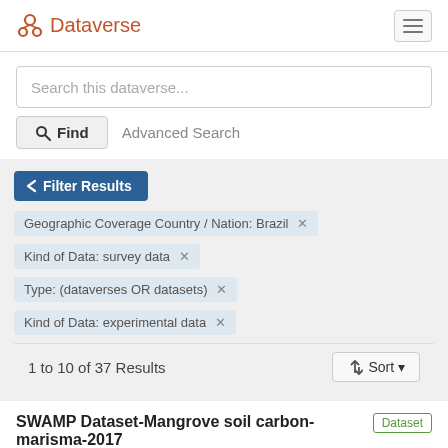Dataverse
Search this dataverse...
Find   Advanced Search
Filter Results
Geographic Coverage Country / Nation: Brazil ×
Kind of Data: survey data ×
Type: (dataverses OR datasets) ×
Kind of Data: experimental data ×
1 to 10 of 37 Results
Sort
SWAMP Dataset-Mangrove soil carbon-marisma-2017
Sep 10, 2020 – Database of tropical wetlands